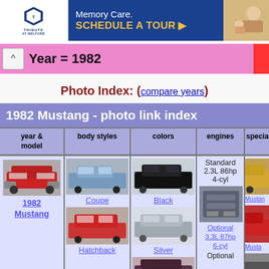[Figure (photo): Advertisement banner for Tribute at Welford Memory Care - Schedule a Tour]
Year = 1982
Photo Index: (compare years)
| year & model | body styles | colors | engines | special |
| --- | --- | --- | --- | --- |
| 1982 Mustang | Coupe
Hatchback | Black
Silver | Standard 2.3L 86hp 4-cyl
Optional 3.3L 87hp 6-cyl
Optional | Mustang
Musta |